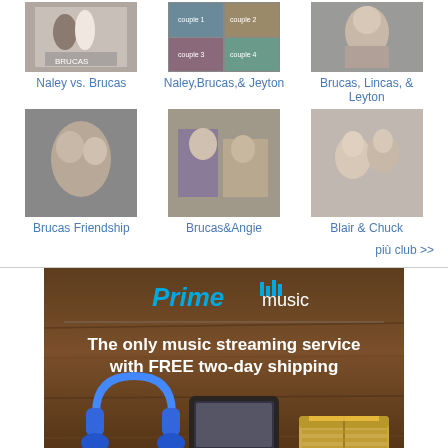[Figure (other): Grid of fan club thumbnails with labels. Row 1: Naley vs. Brucas (TV show couple image), Naley,Brucas,& Jeyton (collage), Brucas, Lincas, & Leyton (man portrait). Row 2: Brucas Friendship (couple embracing), Brucas&Angie (indoor scene), Blair & Chuck (couple kissing).]
più club >>
[Figure (infographic): Amazon Prime Music advertisement. Dark wood background with blue headphones, tablet showing music app, and Amazon shipping box. Text: 'Prime music - The only music streaming service with FREE two-day shipping']